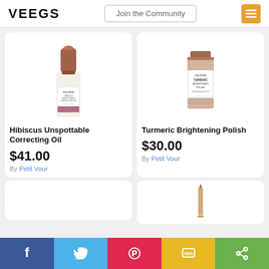VEEGS | Join the Community
[Figure (photo): Volition Hibiscus Unspottable Correcting Oil product bottle with copper/rose gold cap]
Hibiscus Unspottable Correcting Oil
$41.00
By Petit Vour
[Figure (photo): Volition Turmeric Brightening Polish tube product]
Turmeric Brightening Polish
$30.00
By Petit Vour
[Figure (photo): Bottom left partially visible product card]
[Figure (photo): Bottom right product card showing a pencil/eyeliner]
Facebook | Twitter | Pinterest | SMS | Share